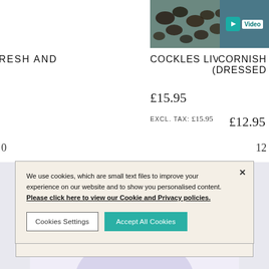[Figure (photo): Cockles live - shellfish product photo, dark background]
[Figure (screenshot): Video badge thumbnail, top-right corner]
RESH AND
COCKLES LIVE -1KG
CORNISH (DRESSED
£15.95
EXCL. TAX: £15.95
£12.95
We use cookies, which are small text files to improve your experience on our website and to show you personalised content. Please click here to view our Cookie and Privacy policies.
Cookies Settings
Accept All Cookies
A FEW TASTY IDEAS
[Figure (photo): Bottom partial image showing circular/plate shape on light purple background]